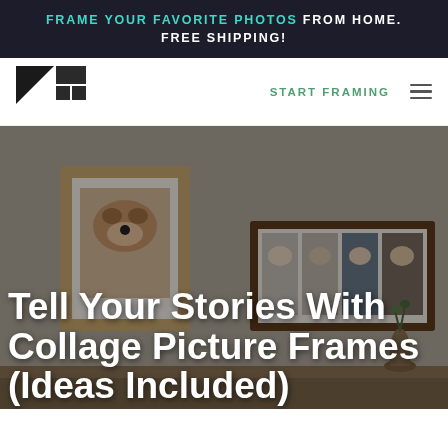FRAME YOUR FAVORITE PHOTOS FROM HOME. FREE SHIPPING!
[Figure (logo): Framebridge logo — black and white geometric squares]
START FRAMING
[Figure (photo): Interior room scene with framed photos on wall — a single dog photo in a light wood frame and a horizontal collage frame with four portrait photos in a dark wood frame, on a shelf with decorative objects]
Tell Your Stories With Collage Picture Frames (Ideas Included)